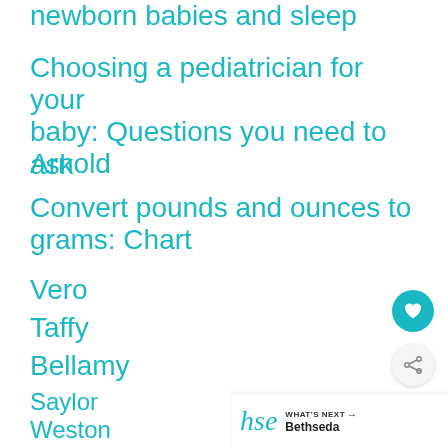newborn babies and sleep
Choosing a pediatrician for your baby: Questions you need to ask
Arnold
Convert pounds and ounces to grams: Chart
Vero
Taffy
Bellamy
Saylor
Weston